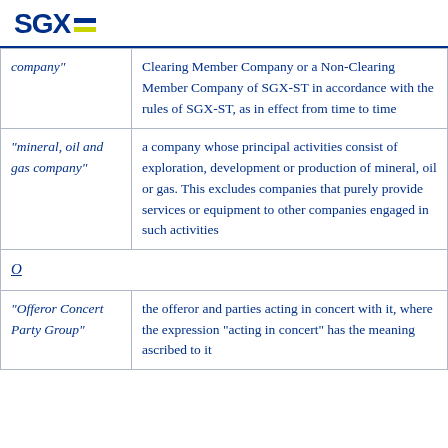SGX
| Term | Definition |
| --- | --- |
| company" | Clearing Member Company or a Non-Clearing Member Company of SGX-ST in accordance with the rules of SGX-ST, as in effect from time to time |
| "mineral, oil and gas company" | a company whose principal activities consist of exploration, development or production of mineral, oil or gas. This excludes companies that purely provide services or equipment to other companies engaged in such activities |
| O |  |
| "Offeror Concert Party Group" | the offeror and parties acting in concert with it, where the expression "acting in concert" has the meaning ascribed to it |